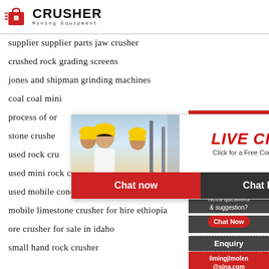[Figure (logo): Crusher Mining Equipment logo with red shopping bag icon and bold CRUSHER text]
supplier supplier parts jaw crusher
crushed rock grading screens
jones and shipman grinding machines
coal coal mini...
process of or...
stone crushe...
used rock cru...
used mini rock crushers for sale
used mobile cone crusher
mobile limestone crusher for hire ethiopia
ore crusher for sale in idaho
small hand rock crusher
[Figure (infographic): Live Chat overlay with workers photo, LIVE CHAT heading, Click for a Free Consultation, Chat now and Chat later buttons]
[Figure (infographic): Sidebar with 24Hrs Online, customer service photo, Need questions & suggestion, Chat Now button, Enquiry section, limingjlmofen@sina.com]